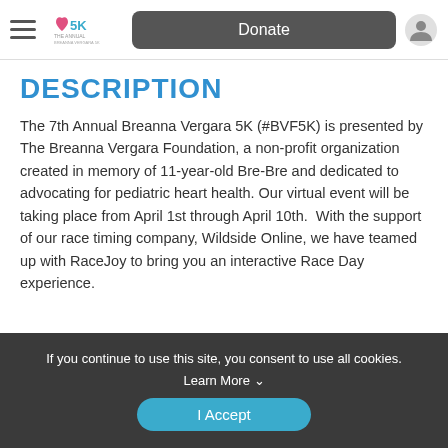Donate
DESCRIPTION
The 7th Annual Breanna Vergara 5K (#BVF5K) is presented by The Breanna Vergara Foundation, a non-profit organization created in memory of 11-year-old Bre-Bre and dedicated to advocating for pediatric heart health. Our virtual event will be taking place from April 1st through April 10th.  With the support of our race timing company, Wildside Online, we have teamed up with RaceJoy to bring you an interactive Race Day experience.
If you continue to use this site, you consent to use all cookies. Learn More ∨
I Accept